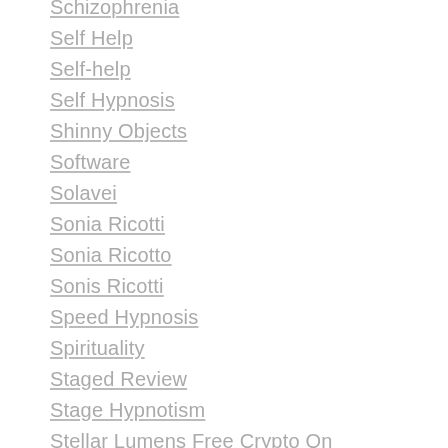Schizophrenia
Self Help
Self-help
Self Hypnosis
Shinny Objects
Software
Solavei
Sonia Ricotti
Sonia Ricotto
Sonis Ricotti
Speed Hypnosis
Spirituality
Staged Review
Stage Hypnotism
Stellar Lumens Free Crypto On Coinable. How To Get Free Crypto
Steve G.jones
Stimulus Check 2021